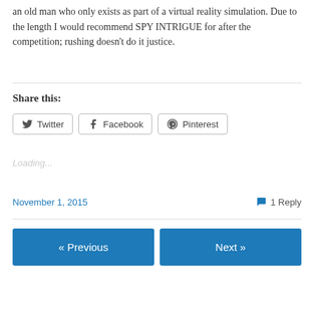an old man who only exists as part of a virtual reality simulation. Due to the length I would recommend SPY INTRIGUE for after the competition; rushing doesn't do it justice.
Share this:
Loading...
November 1, 2015   1 Reply
« Previous   Next »